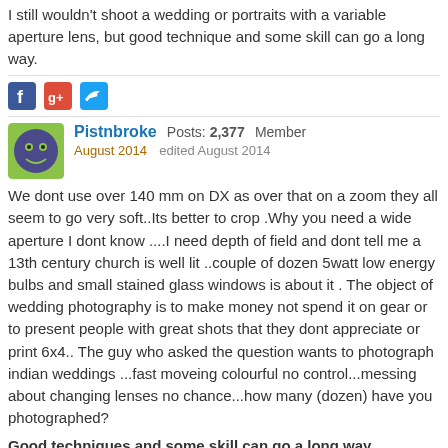I still wouldn't shoot a wedding or portraits with a variable aperture lens, but good technique and some skill can go a long way.
[Figure (infographic): Social share icons: Facebook, Google+, Twitter]
Pistnbroke Posts: 2,377 Member
August 2014 edited August 2014
We dont use over 140 mm on DX as over that on a zoom they all seem to go very soft..Its better to crop .Why you need a wide aperture I dont know ....I need depth of field and dont tell me a 13th century church is well lit ..couple of dozen 5watt low energy bulbs and small stained glass windows is about it . The object of wedding photography is to make money not spend it on gear or to present people with great shots that they dont appreciate or print 6x4.. The guy who asked the question wants to photograph indian weddings ...fast moveing colourful no control...messing about changing lenses no chance...how many (dozen) have you photographed?
Good techniques and some skill can go a long way
Well the some skill comes from being a qualified with the MPA BIPP and RPS so of course I dont know what I am talking about.
The original poster says he is disapointed with the 3100 but did he up the sharpness to +9 or is it on the factory soft settings ???